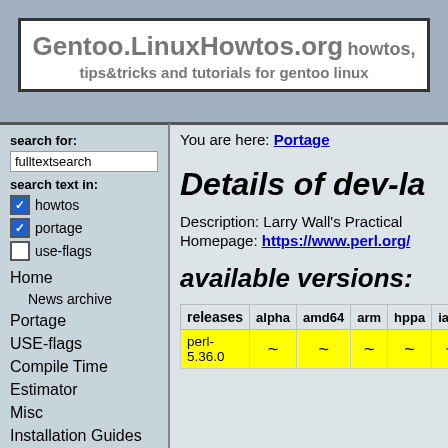Gentoo.LinuxHowtos.org howtos, tips&tricks and tutorials for gentoo linux
search for:
fulltextsearch
search text in:
✓ howtos
✓ portage
□ use-flags
Home
News archive
Portage
USE-flags
Compile Time
Estimator
Misc
Installation Guides
Security
FAQ
Tutorials per portage category
app-admin
You are here: Portage
Details of dev-la
Description: Larry Wall's Practical
Homepage: https://www.perl.org/
available versions:
| releases | alpha | amd64 | arm | hppa | ia64 | mi |
| --- | --- | --- | --- | --- | --- | --- |
| perl-5.36.0 | ~ | ~ | ~ | ~ | ~ | ~ |